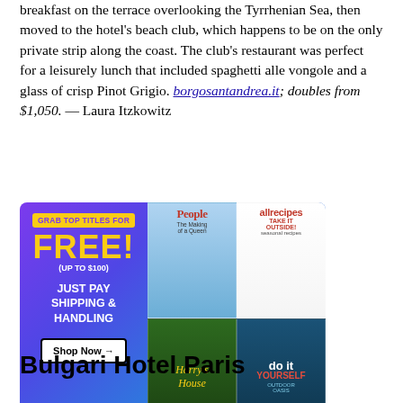breakfast on the terrace overlooking the Tyrrhenian Sea, then moved to the hotel's beach club, which happens to be on the only private strip along the coast. The club's restaurant was perfect for a leisurely lunch that included spaghetti alle vongole and a glass of crisp Pinot Grigio. borgosantandrea.it; doubles from $1,050. — Laura Itzkowitz
[Figure (infographic): Advertisement with purple-to-teal gradient background. Left side: yellow box with 'GRAB TOP TITLES FOR' text, large yellow 'FREE!' text, '(UP TO $100)', 'JUST PAY SHIPPING & HANDLING', and 'Shop Now →' button. Right side: 2x2 grid of magazine covers - People, allrecipes, Harry's House, Do It Yourself.]
Bulgari Hotel Paris